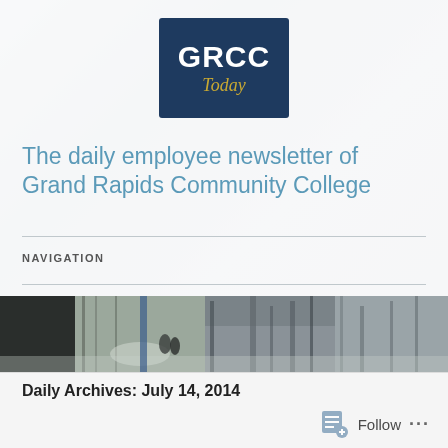[Figure (logo): GRCC Today logo — dark navy blue square with 'GRCC' in white bold text and 'Today' in gold italic text below]
The daily employee newsletter of Grand Rapids Community College
NAVIGATION
[Figure (photo): Banner strip showing a winter campus scene with snow-covered pathways, bare trees, and students walking between college buildings]
Daily Archives: July 14, 2014
Follow ...